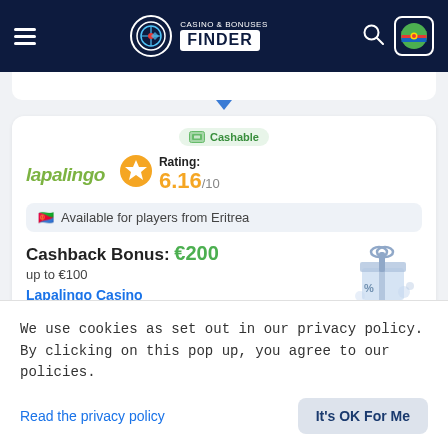Casino & Bonuses Finder
[Figure (screenshot): Partial white card with blue downward arrow indicator at top]
Cashable
lapalingo
Rating: 6.16/10
Available for players from Eritrea
Cashback Bonus: €200 up to €100
Lapalingo Casino
We use cookies as set out in our privacy policy. By clicking on this pop up, you agree to our policies.
Read the privacy policy
It's OK For Me